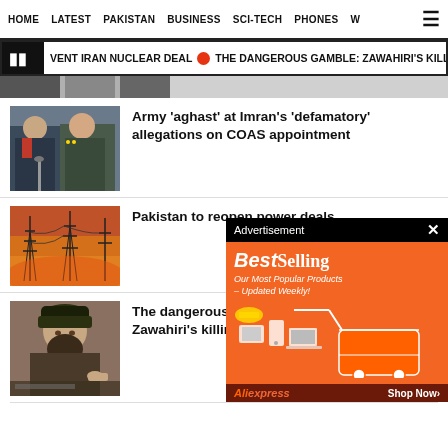HOME   LATEST   PAKISTAN   BUSINESS   SCI-TECH   PHONES   W
VENT IRAN NUCLEAR DEAL  THE DANGEROUS GAMBLE: ZAWAHIRI'S KILLING & TAL
[Figure (photo): Partial cropped image thumbnail at top]
[Figure (photo): Photo of Imran Khan and military official at press conference]
Army 'aghast' at Imran's 'defamatory' allegations on COAS appointment
[Figure (photo): Photo of electricity transmission towers/pylons against red sky]
Pakistan to reopen power deals
[Figure (photo): Photo of man in traditional Afghan attire with turban]
The dangerous gamble: Zawahiri's killing & Taliban
[Figure (infographic): Advertisement overlay: BestSelling - AliExpress. Our Most Popular Products - Updated Weekly! Shop Now]